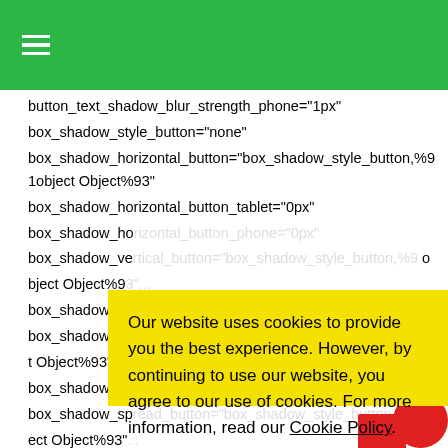[Figure (screenshot): Green navigation header bar with hamburger menu icon (three white horizontal lines)]
button_text_shadow_blur_strength_phone="1px"
box_shadow_style_button="none"
box_shadow_horizontal_button="box_shadow_style_button,%91object Object%93"
box_shadow_horizontal_button_tablet="0px"
box_shadow_ho[rizontal_button_phone="0px"]
box_shadow_ve[rtical_button="box_shadow_style_button,%9 1object Object%9
box_shadow_ve[rtical...]
box_shadow_blu[r_button="...ec t Object%93" b...]
box_shadow_blu[...]
box_shadow_sp[read_button="...obj ect Object%93"]
box_shadow_spread_button_phone="0px"
Our website uses cookies to provide you the best experience. However, by continuing to use our website, you agree to our use of cookies. For more information, read our Cookie Policy.
Accept